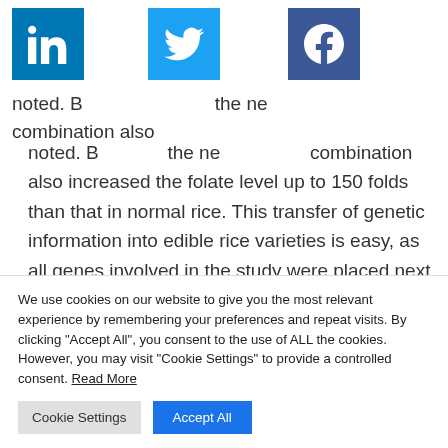[Figure (other): Social media share icons: LinkedIn (blue), Twitter (light blue), Facebook (dark blue), partially overlapping article text]
noted. B[ut] the ne[w] combination also increased the folate level up to 150 folds than that in normal rice. This transfer of genetic information into edible rice varieties is easy, as all genes involved in the study were placed next to each other on a single piece of DNA, which suggests further development of other fortifications such as the enhancement of
We use cookies on our website to give you the most relevant experience by remembering your preferences and repeat visits. By clicking "Accept All", you consent to the use of ALL the cookies. However, you may visit "Cookie Settings" to provide a controlled consent. Read More